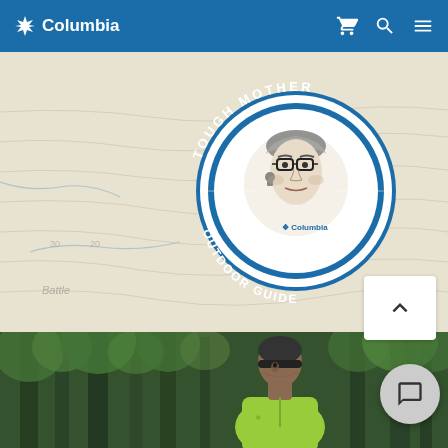Columbia
[Figure (logo): Columbia Sportswear 'Tough Mother Outdoor Guide' circular badge logo with illustrated face of an older woman wearing glasses, text reading TOUGH MOTHER OUTDOOR GUIDE around the circle, 19 38 on sides, Columbia logo at bottom, set against a topographic map background]
[Figure (photo): Man wearing a dark beanie hat and bright yellow-green Columbia jacket standing in a forested area with tall green trees behind him]